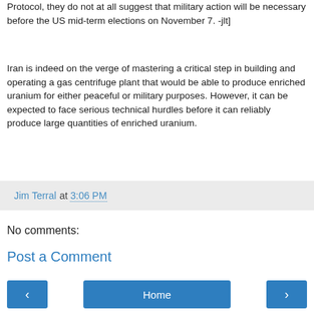Protocol, they do not at all suggest that military action will be necessary before the US mid-term elections on November 7. -jlt]
Iran is indeed on the verge of mastering a critical step in building and operating a gas centrifuge plant that would be able to produce enriched uranium for either peaceful or military purposes. However, it can be expected to face serious technical hurdles before it can reliably produce large quantities of enriched uranium.
Jim Terral at 3:06 PM
No comments:
Post a Comment
View web version